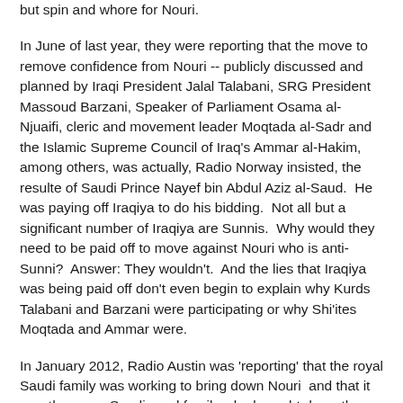but spin and whore for Nouri.
In June of last year, they were reporting that the move to remove confidence from Nouri -- publicly discussed and planned by Iraqi President Jalal Talabani, SRG President Massoud Barzani, Speaker of Parliament Osama al-Njuaifi, cleric and movement leader Moqtada al-Sadr and the Islamic Supreme Council of Iraq's Ammar al-Hakim, among others, was actually, Radio Norway insisted, the resulte of Saudi Prince Nayef bin Abdul Aziz al-Saud.  He was paying off Iraqiya to do his bidding.  Not all but a significant number of Iraqiya are Sunnis.  Why would they need to be paid off to move against Nouri who is anti-Sunni?  Answer: They wouldn't.  And the lies that Iraqiya was being paid off don't even begin to explain why Kurds Talabani and Barzani were participating or why Shi'ites Moqtada and Ammar were.
In January 2012, Radio Austin was 'reporting' that the royal Saudi family was working to bring down Nouri  and that it was the same Saudi royal family who brought down the regimes in Egypt and Yemen and that they did so by paying off the protesters.